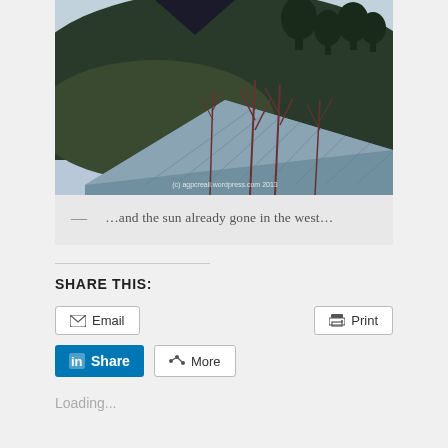[Figure (photo): Outdoor photograph showing a hillside with bare trees and dark foliage in the background, and a corrugated metal roof in the foreground. Watermark reads '(c) agpcreall.wordpress.com 2013']
— …and the sun already gone in the west…
SHARE THIS:
Email | Print | Share | More
Loading...